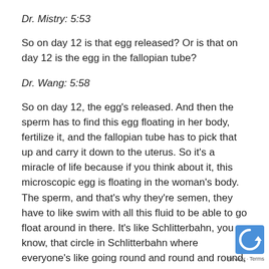Dr. Mistry: 5:53
So on day 12 is that egg released? Or is that on day 12 is the egg in the fallopian tube?
Dr. Wang: 5:58
So on day 12, the egg's released. And then the sperm has to find this egg floating in her body, fertilize it, and the fallopian tube has to pick that up and carry it down to the uterus. So it's a miracle of life because if you think about it, this microscopic egg is floating in the woman's body. The sperm, and that's why they're semen, they have to like swim with all this fluid to be able to go float around in there. It's like Schlitterbahn, you know, that circle in Schlitterbahn where everyone's like going round and round and round, and it's not segregated. Yeah, Easy River. [Inaudilbe] there, they have to find each other